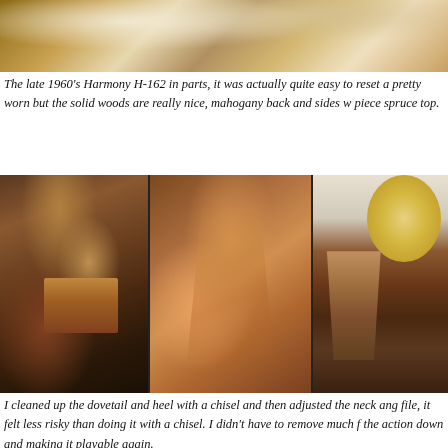[Figure (photo): Partial top view of a guitar body with decorative fabric/rug pattern in background, showing mahogany wood and guitar body details]
The late 1960's Harmony H-162 in parts, it was actually quite easy to reset a pretty worn but the solid woods are really nice, mahogany back and sides w piece spruce top.
[Figure (photo): Three-panel photo collage showing guitar neck dovetail joint repair details: left panel shows separated neck heel, middle panel shows dovetail joint with glue residue forming V-shape, right panel shows heel with white material applied]
I cleaned up the dovetail and heel with a chisel and then adjusted the neck ang file, it felt less risky than doing it with a chisel. I didn't have to remove much f the action down and making it playable again.